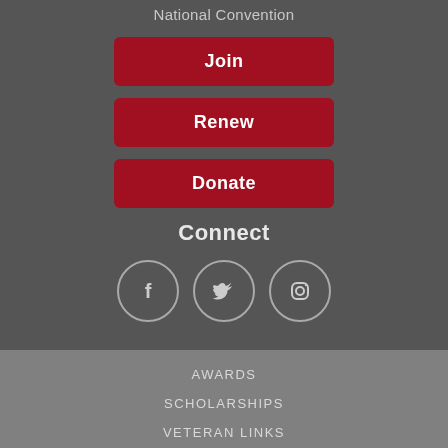National Convention
Join
Renew
Donate
Connect
[Figure (illustration): Three social media icon circles: Facebook, Twitter, Instagram]
AWARDS
SCHOLARSHIPS
VETERAN LINKS
VETERAN SERVICES
MILITARY LICENSE PLATE DECALS
Copyright © 2022 American Legion Department of Illinois. All Rights